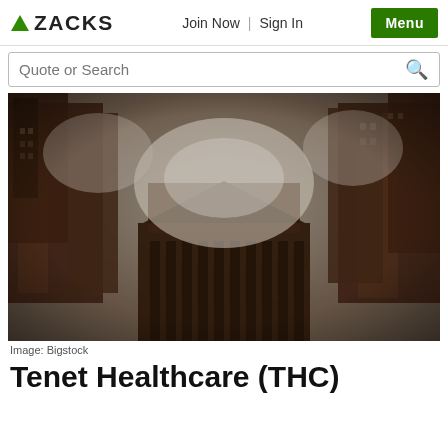ZACKS | Join Now | Sign In | Menu
Quote or Search
[Figure (photo): Upward-looking fisheye view of tall city buildings (skyscrapers) converging toward a cloudy sky in the center, dark tones with sepia/brown tint. Image: Bigstock]
Image: Bigstock
Tenet Healthcare (THC)